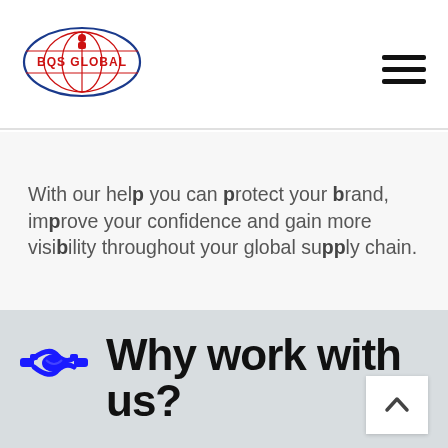[Figure (logo): BQS Global company logo — oval shape with globe icon, text 'BQS GLOBAL' in red, blue oval border]
[Figure (other): Hamburger menu icon — three horizontal black lines]
With our help you can protect your brand, improve your confidence and gain more visibility throughout your global supply chain.
Why work with us?
[Figure (illustration): Blue handshake icon with pointing finger elements on both sides]